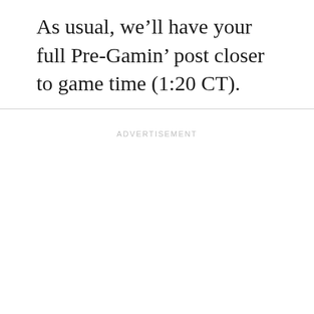As usual, we'll have your full Pre-Gamin' post closer to game time (1:20 CT).
ADVERTISEMENT